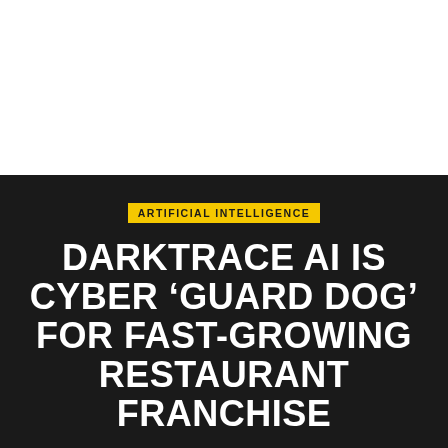ARTIFICIAL INTELLIGENCE
DARKTRACE AI IS CYBER ‘GUARD DOG’ FOR FAST-GROWING RESTAURANT FRANCHISE
RELAY   JANUARY 24, 2020